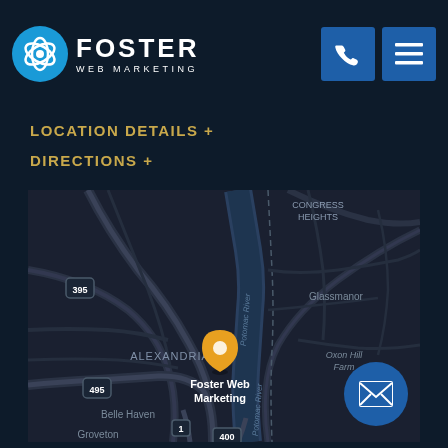[Figure (logo): Foster Web Marketing logo with blue snowflake/atom icon and white FOSTER text]
[Figure (other): Phone icon button (blue square)]
[Figure (other): Hamburger menu icon button (blue square)]
LOCATION DETAILS +
DIRECTIONS +
[Figure (map): Dark-themed map showing Alexandria VA area with Foster Web Marketing pin marker, showing Congress Heights, Glassmanor, Oxon Hill Farm, Belle Haven, Groveton, Potomac River, and highway markers 395, 495, 1, 400]
[Figure (other): Email/envelope button (blue circle, bottom right)]